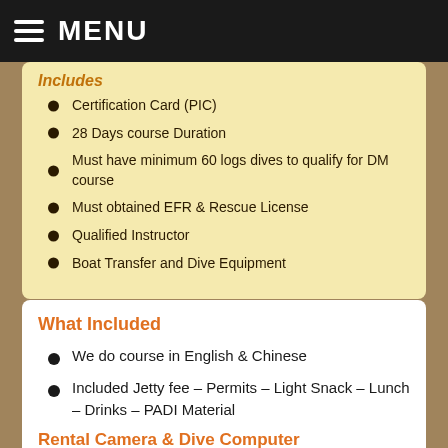MENU
Includes
Certification Card (PIC)
28 Days course Duration
Must have minimum 60 logs dives to qualify for DM course
Must obtained EFR & Rescue License
Qualified Instructor
Boat Transfer and Dive Equipment
What Included
We do course in English & Chinese
Included Jetty fee – Permits – Light Snack – Lunch – Drinks – PADI Material
Rental Camera & Dive Computer